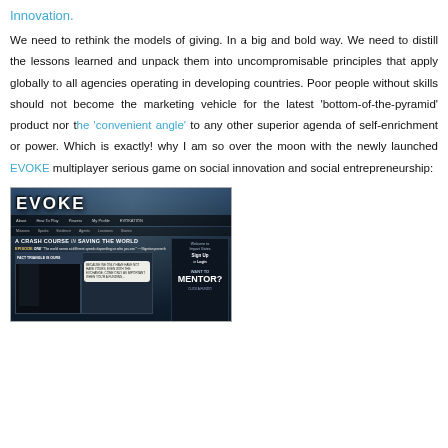Innovation.
We need to rethink the models of giving. In a big and bold way. We need to distill the lessons learned and unpack them into uncompromisable principles that apply globally to all agencies operating in developing countries. Poor people without skills should not become the marketing vehicle for the latest 'bottom-of-the-pyramid' product nor the 'convenient angle' to any other superior agenda of self-enrichment or power. Which is exactly! why I am so over the moon with the newly launched EVOKE multiplayer serious game on social innovation and social entrepreneurship:
[Figure (screenshot): Screenshot of the EVOKE website showing the game interface with a comic-book style layout, navigation bar, 'A Crash Course in Saving the World' tagline, Episode One panel with dark comic imagery and a speech bubble, and a 'Want to Mentor?' sidebar.]